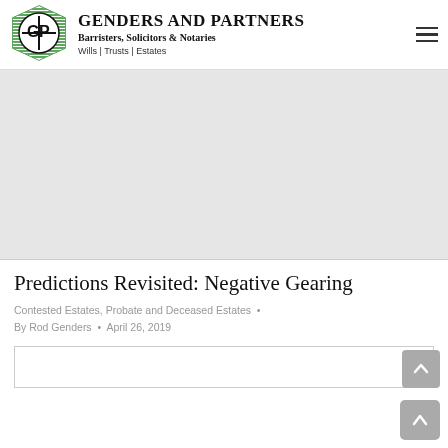GENDERS AND PARTNERS Barristers, Solicitors & Notaries Wills | Trusts | Estates
[Figure (photo): Grey placeholder hero image area]
Predictions Revisited: Negative Gearing
Contested Estates, Probate and Deceased Estates • By Rod Genders • April 26, 2019